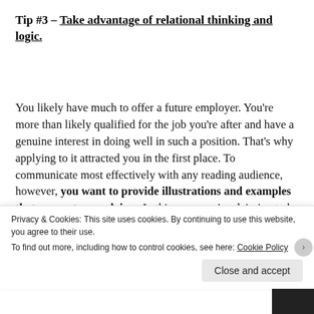Tip #3 – Take advantage of relational thinking and logic.
You likely have much to offer a future employer. You're more than likely qualified for the job you're after and have a genuine interest in doing well in such a position. That's why applying to it attracted you in the first place. To communicate most effectively with any reading audience, however, you want to provide illustrations and examples that support your claims. In this case, you're claiming to be qualified. So, how do you prove it? What evidence can you...
Privacy & Cookies: This site uses cookies. By continuing to use this website, you agree to their use.
To find out more, including how to control cookies, see here: Cookie Policy
Close and accept